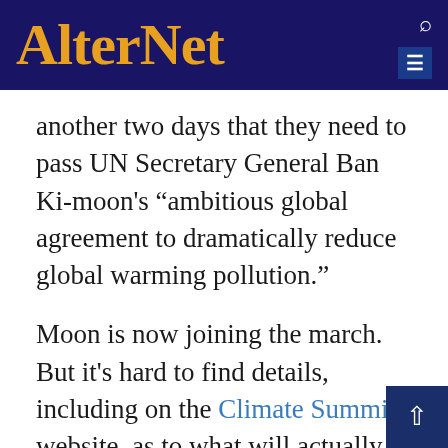AlterNet
another two days that they need to pass UN Secretary General Ban Ki-moon’s “ambitious global agreement to dramatically reduce global warming pollution.”
Moon is now joining the march. But it’s hard to find details, including on the Climate Summit website, as to what will actually be discussed there. The best account I could find is by Canadian journalist Nick Fillmore. He claims the main point will be a carbon pricing scheme. This is one of those corporate-